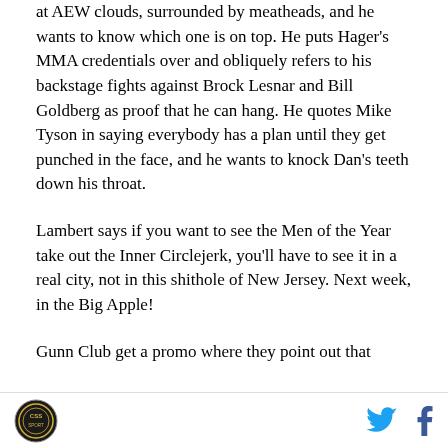at AEW clouds, surrounded by meatheads, and he wants to know which one is on top. He puts Hager's MMA credentials over and obliquely refers to his backstage fights against Brock Lesnar and Bill Goldberg as proof that he can hang. He quotes Mike Tyson in saying everybody has a plan until they get punched in the face, and he wants to knock Dan's teeth down his throat.
Lambert says if you want to see the Men of the Year take out the Inner Circlejerk, you'll have to see it in a real city, not in this shithole of New Jersey. Next week, in the Big Apple!
Gunn Club get a promo where they point out that
CSS logo | Twitter | Facebook